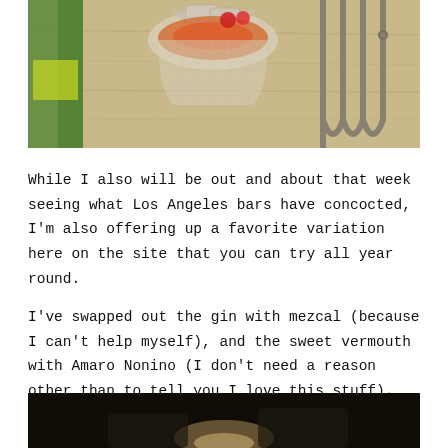[Figure (photo): A crystal rocks glass with an orange/red cocktail and ice cubes on a wooden surface, with metal bar tongs/strainer visible on the right, and a green bottle partially visible on the left]
While I also will be out and about that week seeing what Los Angeles bars have concocted, I'm also offering up a favorite variation here on the site that you can try all year round.
I've swapped out the gin with mezcal (because I can't help myself), and the sweet vermouth with Amaro Nonino (I don't need a reason other than to tell you I love this stuff). The Campari stays the same.
[Figure (photo): Bottom portion of a dark photo showing what appears to be a cocktail being prepared, with a light source visible]